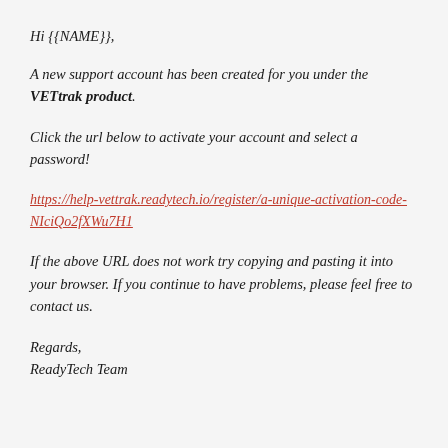Hi {{NAME}},
A new support account has been created for you under the VETtrak product.
Click the url below to activate your account and select a password!
https://help-vettrak.readytech.io/register/a-unique-activation-code-NIciQo2fXWu7H1
If the above URL does not work try copying and pasting it into your browser. If you continue to have problems, please feel free to contact us.
Regards,
ReadyTech Team